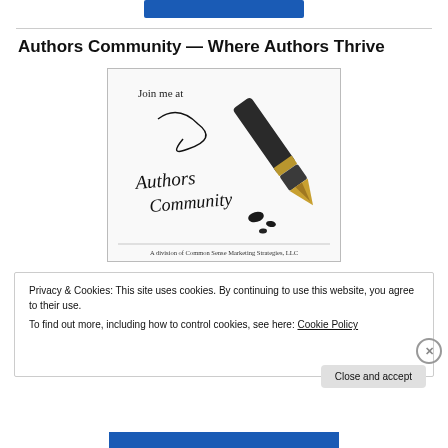[Figure (logo): Blue banner/logo at top of page]
Authors Community — Where Authors Thrive
[Figure (illustration): Authors Community logo image with a fountain pen writing 'Authors Community' in script on white paper, with text 'Join me at' and 'A division of Common Sense Marketing Strategies, LLC']
Privacy & Cookies: This site uses cookies. By continuing to use this website, you agree to their use.
To find out more, including how to control cookies, see here: Cookie Policy
Close and accept